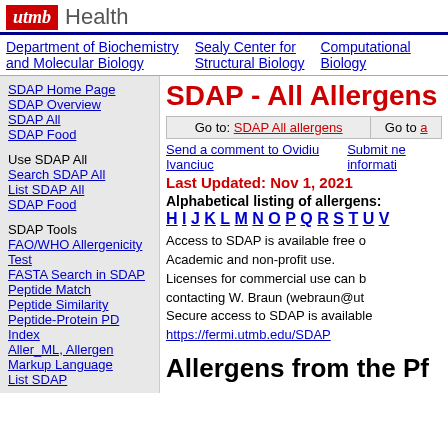utmb Health
Department of Biochemistry and Molecular Biology | Sealy Center for Structural Biology | Computational Biology
SDAP - All Allergens
SDAP Home Page
SDAP Overview
SDAP All
SDAP Food
Use SDAP All
Search SDAP All
List SDAP All
SDAP Food
SDAP Tools
FAO/WHO Allergenicity Test
FASTA Search in SDAP
Peptide Match
Peptide Similarity
Peptide-Protein PD Index
Aller_ML, Allergen Markup Language
List SDAP
Go to: SDAP All allergens | Go to a
Send a comment to Ovidiu Ivanciuc | Submit new information
Last Updated: Nov 1, 2021
Alphabetical listing of allergens: H I J K L M N O P Q R S T U V
Access to SDAP is available free of charge for Academic and non-profit use. Licenses for commercial use can be obtained by contacting W. Braun (webraun@ut...). Secure access to SDAP is available at https://fermi.utmb.edu/SDAP
Allergens from the Pf